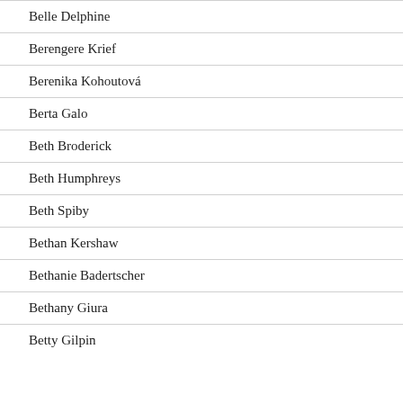Belle Delphine
Berengere Krief
Berenika Kohoutová
Berta Galo
Beth Broderick
Beth Humphreys
Beth Spiby
Bethan Kershaw
Bethanie Badertscher
Bethany Giura
Betty Gilpin